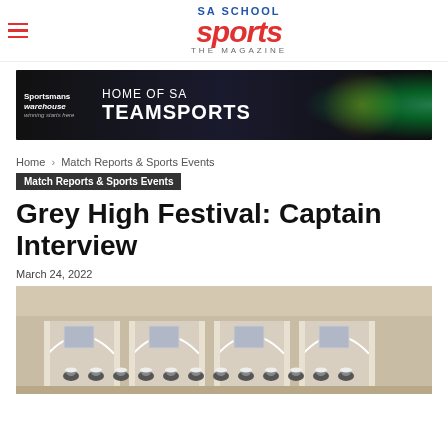SA SCHOOL sports THE MAGAZINE
[Figure (photo): Sportsman's Warehouse advertisement banner: HOME OF SA TEAMSPORTS, with sports action imagery on dark background]
Home › Match Reports & Sports Events
Match Reports & Sports Events
Grey High Festival: Captain Interview
March 24, 2022
[Figure (photo): Group photo of Grey High school students/team in white caps and blazers, standing in front of arched building colonnade]